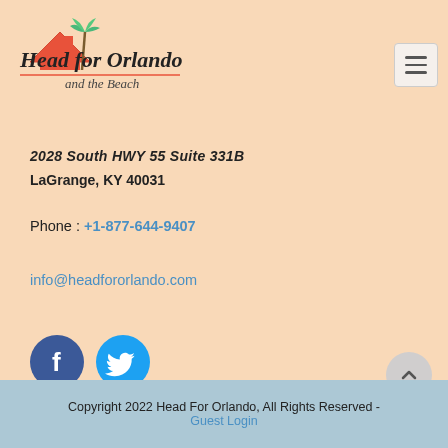[Figure (logo): Head for Orlando and the Beach logo with house/roof icon and palm tree]
2028 South HWY 55 Suite 331B
LaGrange, KY 40031
Phone : +1-877-644-9407
info@headfororlando.com
[Figure (illustration): Facebook and Twitter social media icon buttons]
Copyright 2022 Head For Orlando, All Rights Reserved - Guest Login